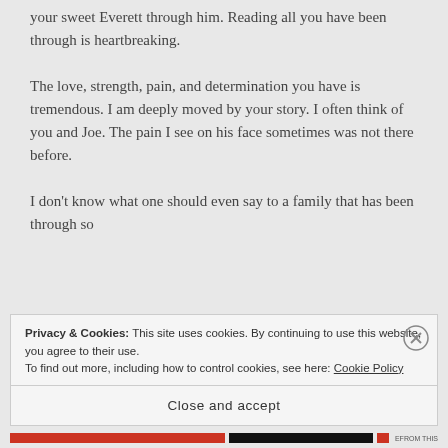your sweet Everett through him. Reading all you have been through is heartbreaking.
The love, strength, pain, and determination you have is tremendous. I am deeply moved by your story. I often think of you and Joe. The pain I see on his face sometimes was not there before.
I don’t know what one should even say to a family that has been through so
Privacy & Cookies: This site uses cookies. By continuing to use this website, you agree to their use.
To find out more, including how to control cookies, see here: Cookie Policy
Close and accept